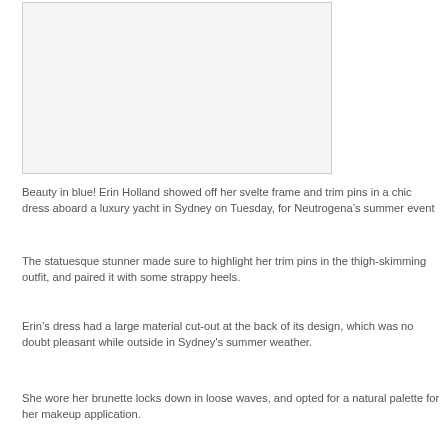[Figure (photo): Blank/white photo placeholder box]
Beauty in blue! Erin Holland showed off her svelte frame and trim pins in a chic dress aboard a luxury yacht in Sydney on Tuesday, for Neutrogena’s summer event
The statuesque stunner made sure to highlight her trim pins in the thigh-skimming outfit, and paired it with some strappy heels.
Erin’s dress had a large material cut-out at the back of its design, which was no doubt pleasant while outside in Sydney's summer weather.
She wore her brunette locks down in loose waves, and opted for a natural palette for her makeup application.